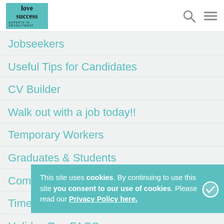love success EXPERTS IN RECRUITMENT
Jobseekers
Useful Tips for Candidates
CV Builder
Walk out with a job today!!
Temporary Workers
Graduates & Students
Com[plete Your Profile]
Time[sheets]
Holiday Pay FAQS
This site uses cookies. By continuing to use this site you consent to our use of cookies. Please read our Privacy Policy here.